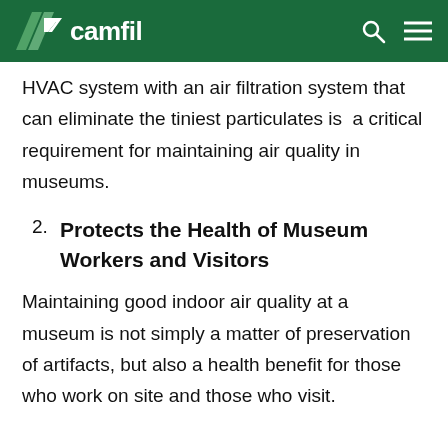camfil
HVAC system with an air filtration system that can eliminate the tiniest particulates is  a critical requirement for maintaining air quality in museums.
2.  Protects the Health of Museum Workers and Visitors
Maintaining good indoor air quality at a museum is not simply a matter of preservation of artifacts, but also a health benefit for those who work on site and those who visit.